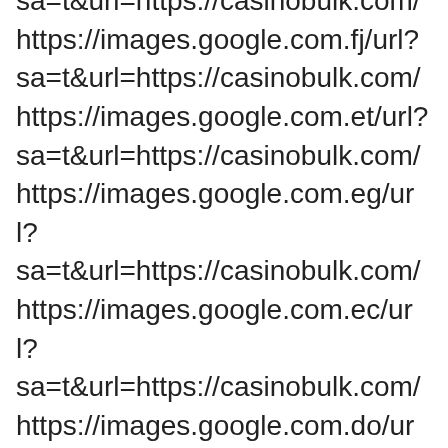sa=t&url=https://casinobulk.com/ https://images.google.com.fj/url?sa=t&url=https://casinobulk.com/ https://images.google.com.et/url?sa=t&url=https://casinobulk.com/ https://images.google.com.eg/url?sa=t&url=https://casinobulk.com/ https://images.google.com.ec/url?sa=t&url=https://casinobulk.com/ https://images.google.com.do/url?sa=t&url=https://casinobulk.com/ https://images.google.com.cy/url?sa=t&url=https://casinobulk.com/ https://images.google.com.cu/url?sa=t&url=https://casinobulk.com/ https://images.google.com.co/url?sa=t&url=https://casinobulk.com/ https://images.google.com.bz/url?